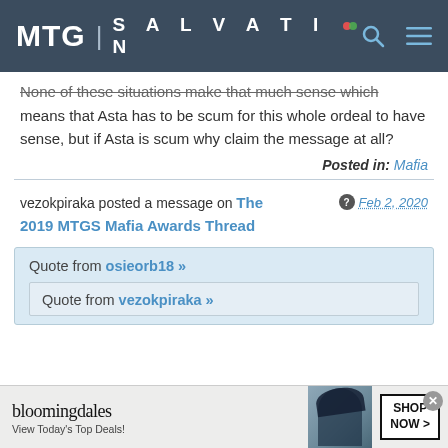MTG | SALVATION
None of these situations make that much sense which means that Asta has to be scum for this whole ordeal to have sense, but if Asta is scum why claim the message at all?
Posted in: Mafia
vezokpiraka posted a message on The 2019 MTGS Mafia Awards Thread
Feb 2, 2020
Quote from osieorb18 »
Quote from vezokpiraka »
[Figure (screenshot): Bloomingdale's advertisement banner: logo, tagline 'View Today's Top Deals!', model photo, and 'SHOP NOW >' CTA button]